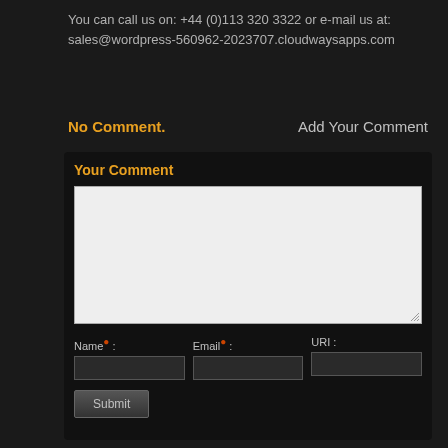You can call us on: +44 (0)113 320 3322 or e-mail us at: sales@wordpress-560962-2023707.cloudwaysapps.com
No Comment.
Add Your Comment
Your Comment
Name* : Email* : URI :
Submit